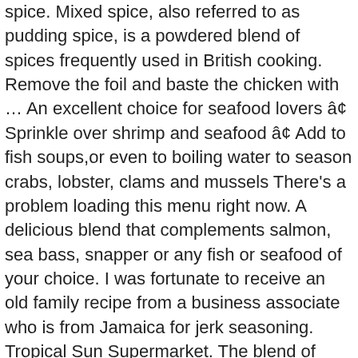spice. Mixed spice, also referred to as pudding spice, is a powdered blend of spices frequently used in British cooking. Remove the foil and baste the chicken with … An excellent choice for seafood lovers â¢ Sprinkle over shrimp and seafood â¢ Add to fish soups,or even to boiling water to season crabs, lobster, clams and mussels There's a problem loading this menu right now. A delicious blend that complements salmon, sea bass, snapper or any fish or seafood of your choice. I was fortunate to receive an old family recipe from a business associate who is from Jamaica for jerk seasoning. Tropical Sun Supermarket. The blend of spices is very similar, which makes pumpkin pie spice a good substitute for mixed spice if â¦ First, I got the pre-mixed spices and I also got a coupon which was a buy one get one free. GRAINS; CANNED; HERBAL SUPLIMENTS; ABOUT US; CONTACT US; Jamaican Choice Coconut Water With Pulp NET WT. Tamrah Chocolate Covered Dates with Orange Peel Zipper Bag (100gms) - Healthy Fruit... Crave Pumpkin Pie Spice Seasoning 16 Oz XL Jar - Premium Warm Spicy-Sweet Flavor. You can follow this conversation by subscribing to the comment feed for this post. So I